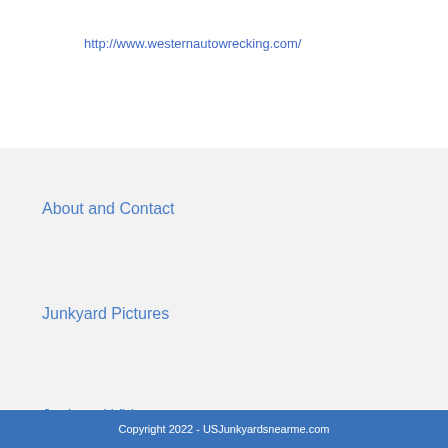http://www.westernautowrecking.com/
About and Contact
Junkyard Pictures
Junkyard Videos
Copyright 2022 - USJunkyardsnearme.com